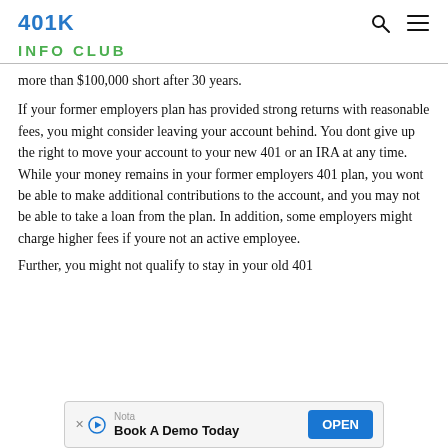401K
INFO CLUB
more than $100,000 short after 30 years.
If your former employers plan has provided strong returns with reasonable fees, you might consider leaving your account behind. You dont give up the right to move your account to your new 401 or an IRA at any time. While your money remains in your former employers 401 plan, you wont be able to make additional contributions to the account, and you may not be able to take a loan from the plan. In addition, some employers might charge higher fees if youre not an active employee.
Further, you might not qualify to stay in your old 401
[Figure (other): Advertisement banner: 'Nota / Book A Demo Today' with OPEN button]